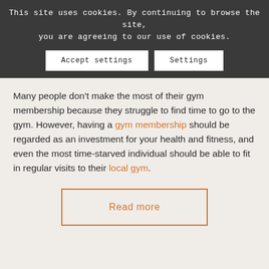This site uses cookies. By continuing to browse the site, you are agreeing to our use of cookies.
Accept settings | Settings
Many people don't make the most of their gym membership because they struggle to find time to go to the gym. However, having a gym membership should be regarded as an investment for your health and fitness, and even the most time-starved individual should be able to fit in regular visits to their local gym.
Read more